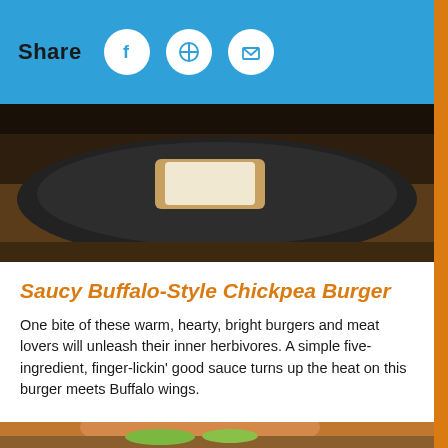Share
[Figure (photo): Top-down photo of a dark plate with food on a wooden table surface, partially visible]
Saucy Buffalo-Style Chickpea Burger
One bite of these warm, hearty, bright burgers and meat lovers will unleash their inner herbivores. A simple five-ingredient, finger-lickin' good sauce turns up the heat on this burger meets Buffalo wings.
[Figure (photo): Photo of a saucy buffalo-style chickpea burger on a bun with lettuce, tomato, and red onion on a wooden board, with another burger in the background]